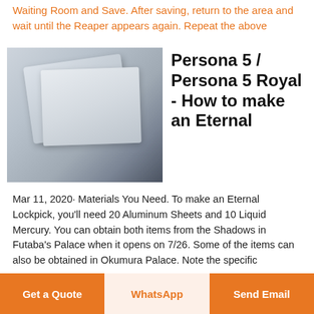Waiting Room and Save. After saving, return to the area and wait until the Reaper appears again. Repeat the above
[Figure (photo): Close-up photo of aluminum sheets with a smooth light gray surface on top of a textured dark metallic background]
Persona 5 / Persona 5 Royal - How to make an Eternal
Mar 11, 2020· Materials You Need. To make an Eternal Lockpick, you'll need 20 Aluminum Sheets and 10 Liquid Mercury. You can obtain both items from the Shadows in Futaba's Palace when it opens on 7/26. Some of the items can also be obtained in Okumura Palace. Note the specific
Get a Quote | WhatsApp | Send Email